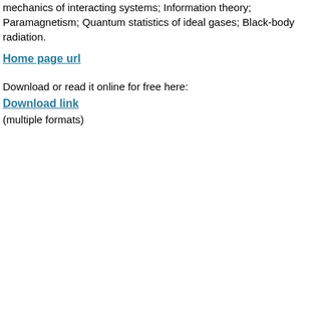mechanics of interacting systems; Information theory; Paramagnetism; Quantum statistics of ideal gases; Black-body radiation.
Home page url
Download or read it online for free here:
Download link
(multiple formats)